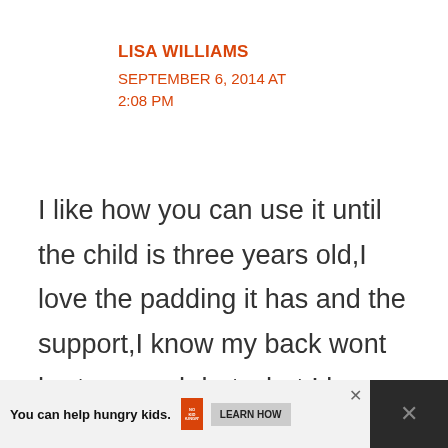LISA WILLIAMS
SEPTEMBER 6, 2014 AT 2:08 PM
I like how you can use it until the child is three years old,I love the padding it has and the support,I know my back wont hurt as much,but what I love the most is I am able to hold my baby close to
[Figure (other): Like (heart) button with count of 1 and share button, orange circular icons on right side]
[Figure (other): Advertisement banner: 'You can help hungry kids.' with No Kid Hungry logo and Learn How button. Dark panel on right with X close button.]